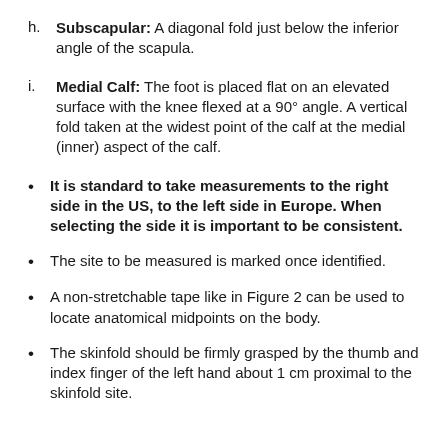h. Subscapular: A diagonal fold just below the inferior angle of the scapula.
i. Medial Calf: The foot is placed flat on an elevated surface with the knee flexed at a 90° angle. A vertical fold taken at the widest point of the calf at the medial (inner) aspect of the calf.
It is standard to take measurements to the right side in the US, to the left side in Europe. When selecting the side it is important to be consistent.
The site to be measured is marked once identified.
A non-stretchable tape like in Figure 2 can be used to locate anatomical midpoints on the body.
The skinfold should be firmly grasped by the thumb and index finger of the left hand about 1 cm proximal to the skinfold site.